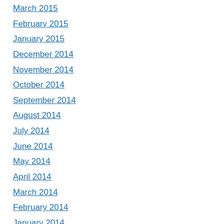March 2015
February 2015
January 2015
December 2014
November 2014
October 2014
September 2014
August 2014
July 2014
June 2014
May 2014
April 2014
March 2014
February 2014
January 2014
December 2013
November 2013
October 2013